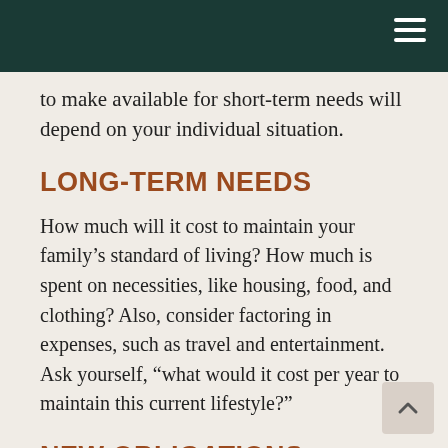to make available for short-term needs will depend on your individual situation.
LONG-TERM NEEDS
How much will it cost to maintain your family's standard of living? How much is spent on necessities, like housing, food, and clothing? Also, consider factoring in expenses, such as travel and entertainment. Ask yourself, “what would it cost per year to maintain this current lifestyle?”
NEW OBLIGATIONS
What additional expenses may arise in the future? What family considerations will need to be addressed, especially if there are young children? Will...